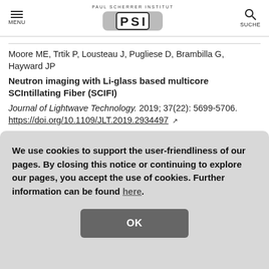MENU | PAUL SCHERRER INSTITUT PSI | SUCHE
Moore ME, Trtik P, Lousteau J, Pugliese D, Brambilla G, Hayward JP
Neutron imaging with Li-glass based multicore SCIntillating Fiber (SCIFI)
Journal of Lightwave Technology. 2019; 37(22): 5699-5706. https://doi.org/10.1109/JLT.2019.2934497
DORA PSI
We use cookies to support the user-friendliness of our pages. By closing this notice or continuing to explore our pages, you accept the use of cookies. Further information can be found here.
OK